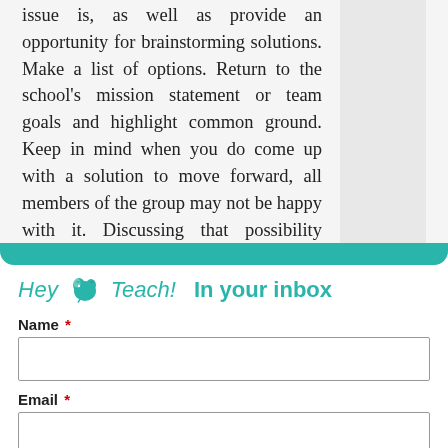issue is, as well as provide an opportunity for brainstorming solutions. Make a list of options. Return to the school's mission statement or team goals and highlight common ground. Keep in mind when you do come up with a solution to move forward, all members of the group may not be happy with it. Discussing that possibility before getting back to work may help ease member discomfort.
[Figure (logo): HeyTeach! logo with elephant icon and text 'In your inbox']
Name *
Email *
Submit
No thanks. Continue to Hey Teach!